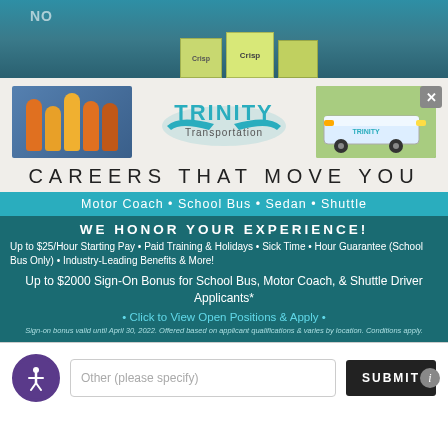[Figure (photo): Top strip showing a warehouse/store interior with boxes and teal wall, partially visible signage]
[Figure (photo): Trinity Transportation advertisement with workers in orange vests on left, Trinity Transportation logo in center, and a motor coach bus on right]
CAREERS THAT MOVE YOU
Motor Coach • School Bus • Sedan • Shuttle
WE HONOR YOUR EXPERIENCE!
Up to $25/Hour Starting Pay • Paid Training & Holidays • Sick Time • Hour Guarantee (School Bus Only) • Industry-Leading Benefits & More!
Up to $2000 Sign-On Bonus for School Bus, Motor Coach, & Shuttle Driver Applicants*
• Click to View Open Positions & Apply •
Sign-on bonus valid until April 30, 2022. Offered based on applicant qualifications & varies by location. Conditions apply.
[Figure (screenshot): Website bottom bar with accessibility icon, 'Other (please specify)' input field, and SUBMIT button]